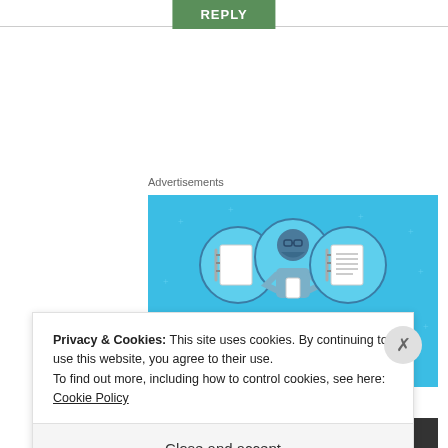REPLY
Advertisements
[Figure (illustration): Day One journaling app advertisement with blue background, illustration of a person holding a phone between two circular icons of notebooks, text reading DAY ONE - The only journaling app you'll ever need.]
Privacy & Cookies: This site uses cookies. By continuing to use this website, you agree to their use.
To find out more, including how to control cookies, see here: Cookie Policy
Close and accept